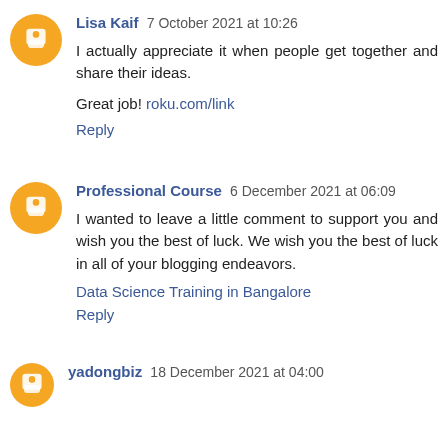Lisa Kaif 7 October 2021 at 10:26
I actually appreciate it when people get together and share their ideas.

Great job! roku.com/link
Reply
Professional Course 6 December 2021 at 06:09
I wanted to leave a little comment to support you and wish you the best of luck. We wish you the best of luck in all of your blogging endeavors.

Data Science Training in Bangalore
Reply
yadongbiz 18 December 2021 at 04:00